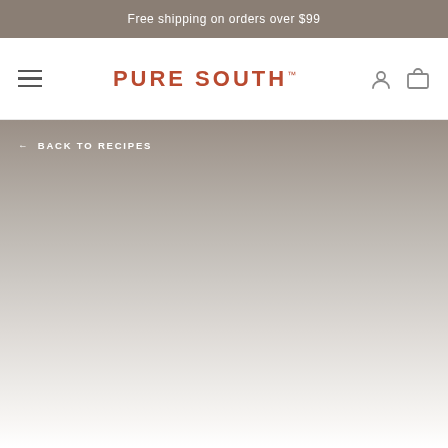Free shipping on orders over $99
[Figure (logo): Pure South brand logo with hamburger menu on left and cart/user icons on right]
← BACK TO RECIPES
[Figure (photo): Hero image area with gradient background fading from gray to white]